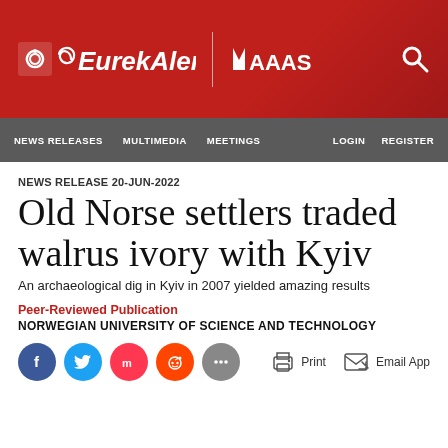[Figure (logo): EurekAlert! logo with AAAS branding on red banner, search icon]
NEWS RELEASES   MULTIMEDIA   MEETINGS   LOGIN   REGISTER
NEWS RELEASE 20-JUN-2022
Old Norse settlers traded walrus ivory with Kyiv
An archaeological dig in Kyiv in 2007 yielded amazing results
Peer-Reviewed Publication
NORWEGIAN UNIVERSITY OF SCIENCE AND TECHNOLOGY
[Figure (infographic): Social share buttons (Facebook, Twitter, Mix, Reddit, More) and action buttons (Print, Email App)]